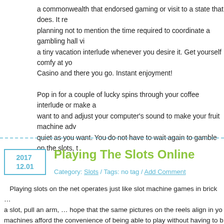a commonwealth that endorsed gaming or visit to a state that does. It re planning not to mention the time required to coordinate a gambling hall vi a tiny vacation interlude whenever you desire it. Get yourself comfy at yo Casino and there you go. Instant enjoyment!
Pop in for a couple of lucky spins through your coffee interlude or make a want to and adjust your computer's sound to make your fruit machine adv quiet as you want. You do not have to wait again to gamble on the slots, t
Playing The Slots Online
Category: Slots / Tags: no tag / Add Comment
Playing slots on the net operates just like slot machine games in brick a slot, pull an arm, … hope that the same pictures on the reels align in yo machines afford the convenience of being able to play without having to b of the day. And on quite a few web sites, the pay out is set as high as the Vegas; which undoubtedly means that, generally, it might be more profita bandits.